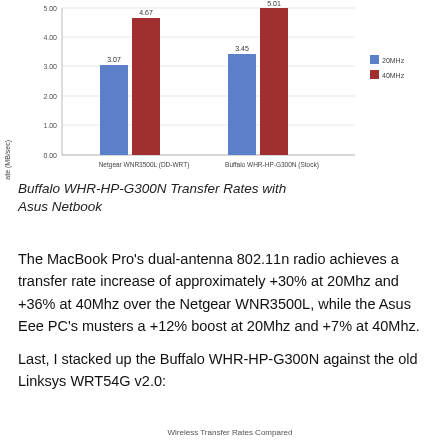[Figure (grouped-bar-chart): ]
Buffalo WHR-HP-G300N Transfer Rates with Asus Netbook
The MacBook Pro’s dual-antenna 802.11n radio achieves a transfer rate increase of approximately +30% at 20Mhz and +36% at 40Mhz over the Netgear WNR3500L, while the Asus Eee PC’s musters a +12% boost at 20Mhz and +7% at 40Mhz.
Last, I stacked up the Buffalo WHR-HP-G300N against the old Linksys WRT54G v2.0:
Wireless Transfer Rates Compared